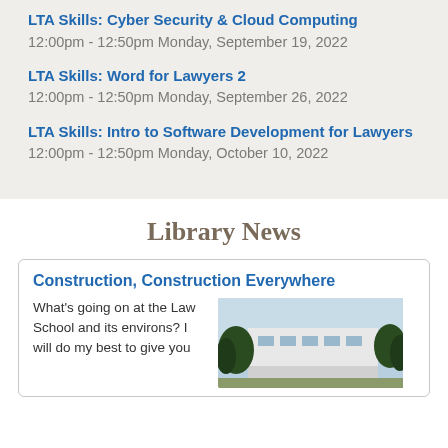LTA Skills: Cyber Security & Cloud Computing
12:00pm - 12:50pm Monday, September 19, 2022
LTA Skills: Word for Lawyers 2
12:00pm - 12:50pm Monday, September 26, 2022
LTA Skills: Intro to Software Development for Lawyers
12:00pm - 12:50pm Monday, October 10, 2022
Library News
Construction, Construction Everywhere
What’s going on at the Law School and its environs? I will do my best to give you
[Figure (photo): Exterior photo of a building with trees in the foreground and sky in the background.]